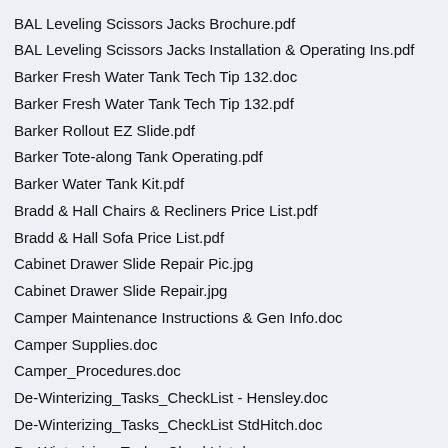BAL Leveling Scissors Jacks Brochure.pdf
BAL Leveling Scissors Jacks Installation & Operating Ins.pdf
Barker Fresh Water Tank Tech Tip 132.doc
Barker Fresh Water Tank Tech Tip 132.pdf
Barker Rollout EZ Slide.pdf
Barker Tote-along Tank Operating.pdf
Barker Water Tank Kit.pdf
Bradd & Hall Chairs & Recliners Price List.pdf
Bradd & Hall Sofa Price List.pdf
Cabinet Drawer Slide Repair Pic.jpg
Cabinet Drawer Slide Repair.jpg
Camper Maintenance Instructions & Gen Info.doc
Camper Supplies.doc
Camper_Procedures.doc
De-Winterizing_Tasks_CheckList - Hensley.doc
De-Winterizing_Tasks_CheckList StdHitch.doc
De-Winterizing_Tasks_CheckList.doc
Dexter 4000-6000 lb Axle Specifications.pdf
Dexter 5500-7000 lb Axles Specifications.pdf
Dexter Applications Manual.pdf
Dexter Axle Users Manual.pdf
Dexter E-Z Lube Axles.doc
Dexter E-Z lube axles.pdf